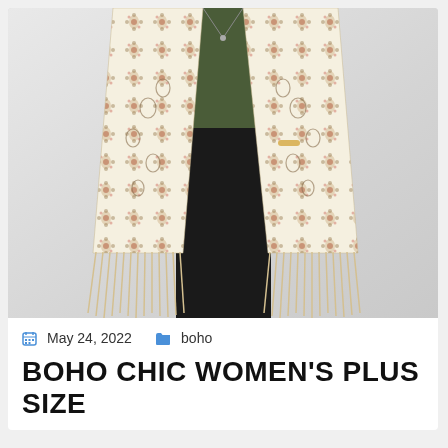[Figure (photo): A woman wearing a boho chic crochet-style floral patterned vest/kimono with long fringe at the bottom, over a green top and black pants. The background is light gray/white.]
May 24, 2022   boho
BOHO CHIC WOMEN'S PLUS SIZE